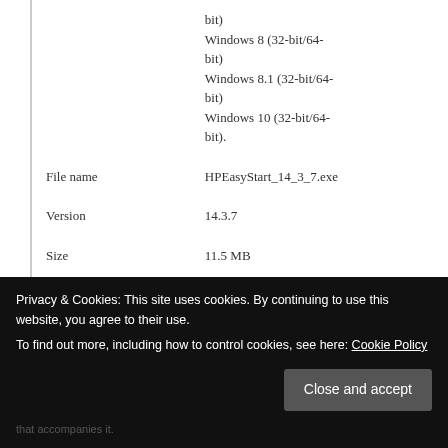|  | bit)
Windows 8 (32-bit/64-bit)
Windows 8.1 (32-bit/64-bit)
Windows 10 (32-bit/64-bit). |
| File name | HPEasyStart_14_3_7.exe |
| Version | 14.3.7 |
| Size | 11.5 MB |
| Description | The HP Easy Start provides integrated |
Privacy & Cookies: This site uses cookies. By continuing to use this website, you agree to their use.
To find out more, including how to control cookies, see here: Cookie Policy
Close and accept